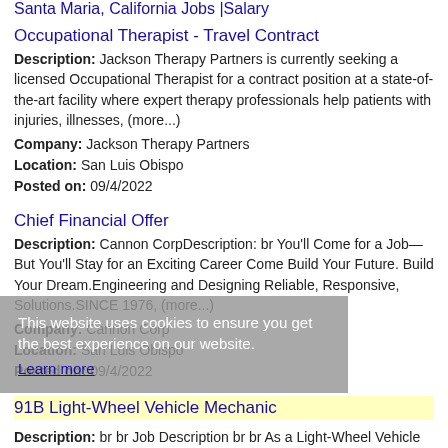Santa Maria, California Jobs |Salary
Occupational Therapist - Travel Contract
Description: Jackson Therapy Partners is currently seeking a licensed Occupational Therapist for a contract position at a state-of-the-art facility where expert therapy professionals help patients with injuries, illnesses, (more...)
Company: Jackson Therapy Partners
Location: San Luis Obispo
Posted on: 09/4/2022
Chief Financial Offer
Description: Cannon CorpDescription: br You'll Come for a Job—But You'll Stay for an Exciting Career Come Build Your Future. Build Your Dream.Engineering and Designing Reliable, Responsive, Solutions.SINCE 1976, (more...)
Company: Cannon Corp
Location: San Luis Obispo
Posted on: 09/4/2022
91B Light-Wheel Vehicle Mechanic
Description: br br Job Description br br As a Light-Wheel Vehicle Mechanic for the Army National Guard you'll ensure that anything that moves on wheels is ready to hit the road. In this role, you will